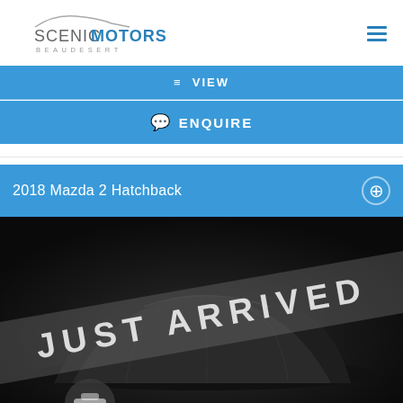[Figure (logo): Scenic Motors Beaudesert logo with car silhouette above text]
[Figure (screenshot): Hamburger menu icon (three horizontal blue lines)]
VIEW
ENQUIRE
2018 Mazda 2 Hatchback
[Figure (photo): Car covered with black cloth with 'JUST ARRIVED' diagonal banner overlay on dark background]